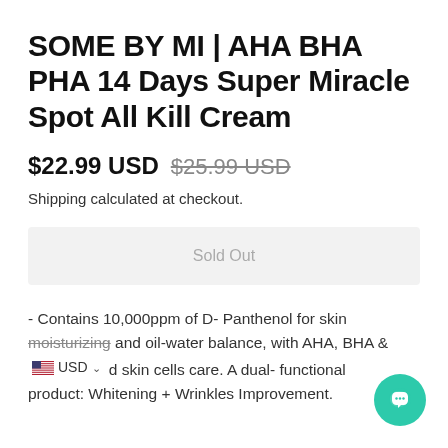SOME BY MI | AHA BHA PHA 14 Days Super Miracle Spot All Kill Cream
$22.99 USD  $25.99 USD
Shipping calculated at checkout.
Sold Out
- Contains 10,000ppm of D- Panthenol for skin moisturizing and oil-water balance, with AHA, BHA & d skin cells care. A dual- functional product: Whitening + Wrinkles Improvement.